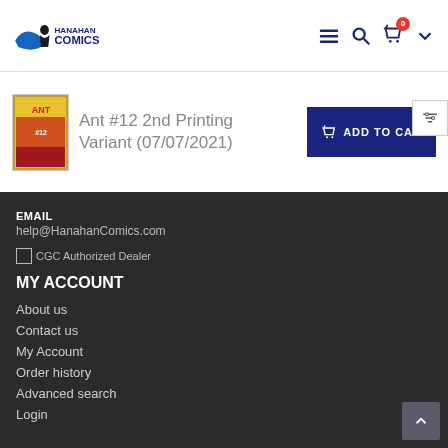Hanahan Comics
Ant #12 2nd Printing Variant (07/07/2021)
EMAIL
help@HanahanComics.com
[Figure (logo): CGC Authorized Dealer logo with text]
MY ACCOUNT
About us
Contact us
My Account
Order history
Advanced search
Login